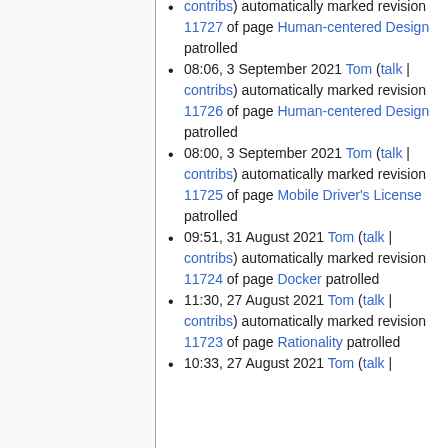contribs) automatically marked revision 11727 of page Human-centered Design patrolled
08:06, 3 September 2021 Tom (talk | contribs) automatically marked revision 11726 of page Human-centered Design patrolled
08:00, 3 September 2021 Tom (talk | contribs) automatically marked revision 11725 of page Mobile Driver's License patrolled
09:51, 31 August 2021 Tom (talk | contribs) automatically marked revision 11724 of page Docker patrolled
11:30, 27 August 2021 Tom (talk | contribs) automatically marked revision 11723 of page Rationality patrolled
10:33, 27 August 2021 Tom (talk |